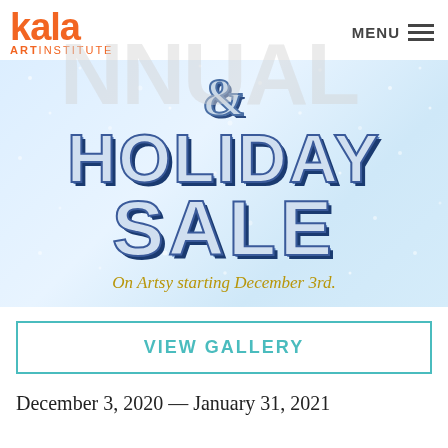[Figure (logo): Kala Art Institute logo in orange]
[Figure (infographic): Annual Holiday Sale banner with blue 3D text on light blue snowy background. Text reads: & HOLIDAY SALE. On Artsy starting December 3rd.]
VIEW GALLERY
December 3, 2020 — January 31, 2021